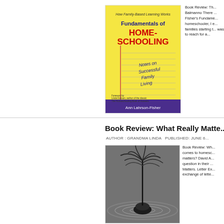[Figure (illustration): Book cover: Fundamentals of Home-Schooling: Notes on Successful Family Living by Ann Lahrson-Fisher. Yellow notepad background with red and blue title text.]
Book Review: Th... Balmanno There ... Fisher's Fundame... homeschooler, I e... families starting t... was to reach for a...
Book Review: What Really Matte...
AUTHOR : GRANDMA LINDA PUBLISHED: JUNE 6...
[Figure (photo): Black and white photo of an ink pen/quill in an inkwell with a palm tree, surrounded by swirling water or ink.]
Book Review: Wh... comes to homesc... matters? David A... question in their ... Matters. Letter Ex... exchange of lette...